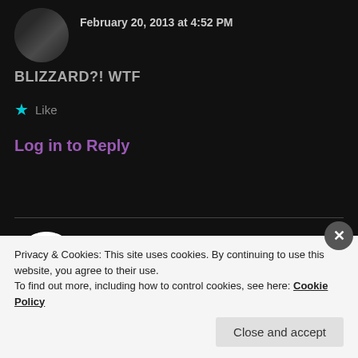February 20, 2013 at 4:52 PM
BLIZZARD?! WTF
★ Like
Log in to Reply
ARI MARGO
February 20, 2013 at 4:52 PM
Privacy & Cookies: This site uses cookies. By continuing to use this website, you agree to their use.
To find out more, including how to control cookies, see here: Cookie Policy
Close and accept